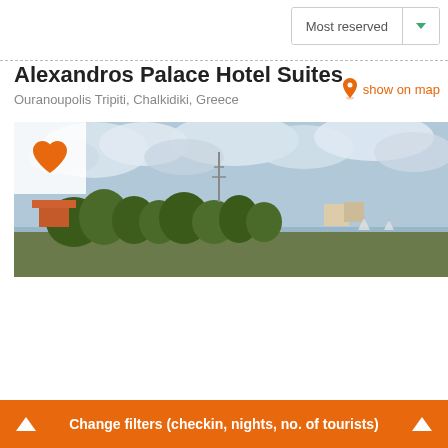Most reserved
Alexandros Palace Hotel Suites
Ouranoupolis Tripiti, Chalkidiki, Greece
show on map
[Figure (photo): Panoramic photo of Alexandros Palace Hotel with trees, buildings and cloudy sky]
Change filters (checkin, nights, no. of tourists)